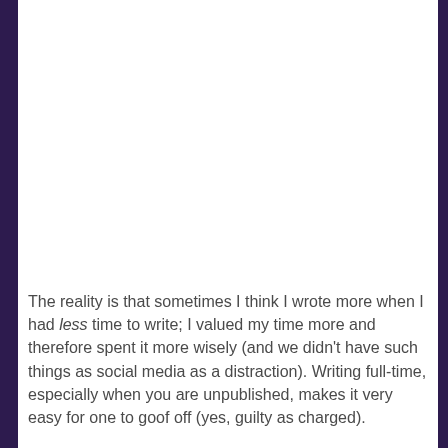The reality is that sometimes I think I wrote more when I had less time to write; I valued my time more and therefore spent it more wisely (and we didn't have such things as social media as a distraction). Writing full-time, especially when you are unpublished, makes it very easy for one to goof off (yes, guilty as charged).
If there's one thing my university studies taught me, though, it